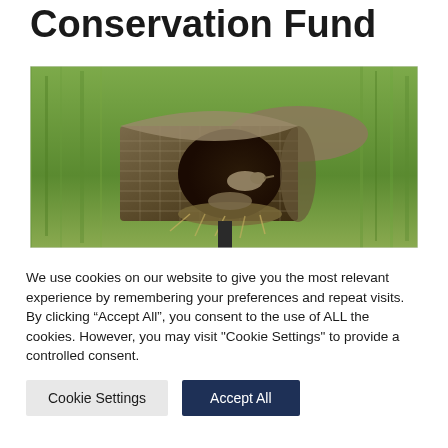Conservation Fund
[Figure (photo): A bird (marsh wren or similar species) inside a cylindrical wire mesh nest structure mounted on a post, surrounded by green marsh grass background.]
We use cookies on our website to give you the most relevant experience by remembering your preferences and repeat visits. By clicking “Accept All”, you consent to the use of ALL the cookies. However, you may visit "Cookie Settings" to provide a controlled consent.
Cookie Settings | Accept All